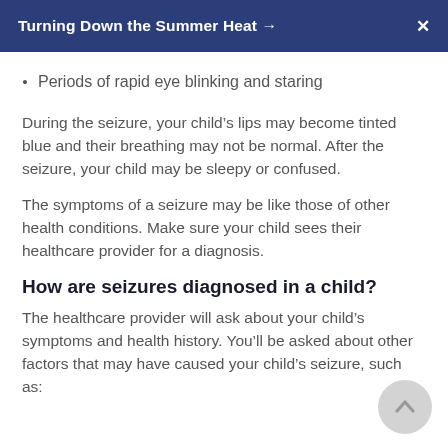Turning Down the Summer Heat →  X
Periods of rapid eye blinking and staring
During the seizure, your child's lips may become tinted blue and their breathing may not be normal. After the seizure, your child may be sleepy or confused.
The symptoms of a seizure may be like those of other health conditions. Make sure your child sees their healthcare provider for a diagnosis.
How are seizures diagnosed in a child?
The healthcare provider will ask about your child's symptoms and health history. You'll be asked about other factors that may have caused your child's seizure, such as: